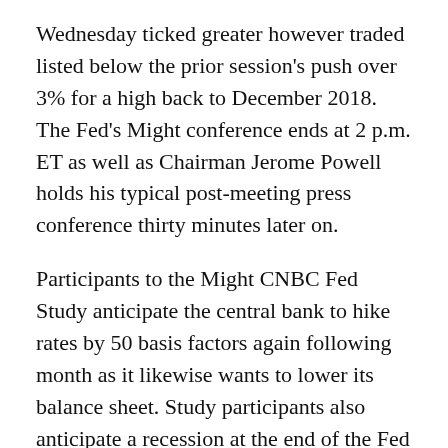Wednesday ticked greater however traded listed below the prior session's push over 3% for a high back to December 2018. The Fed's Might conference ends at 2 p.m. ET as well as Chairman Jerome Powell holds his typical post-meeting press conference thirty minutes later on.
Participants to the Might CNBC Fed Study anticipate the central bank to hike rates by 50 basis factors again following month as it likewise wants to lower its balance sheet. Study participants also anticipate a recession at the end of the Fed tightening cycle.
The marketplace expects rate increases at the Fed's July, September, November and also December meetings of at the very least 25 basis